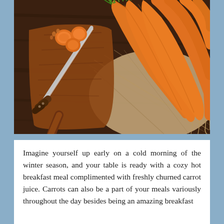[Figure (photo): A top-down photograph of fresh whole carrots with green tops on a burlap cloth, a wooden cutting board with sliced carrot rounds, and a kitchen knife, all on a dark rustic wooden surface.]
Imagine yourself up early on a cold morning of the winter season, and your table is ready with a cozy hot breakfast meal complimented with freshly churned carrot juice. Carrots can also be a part of your meals variously throughout the day besides being an amazing breakfast